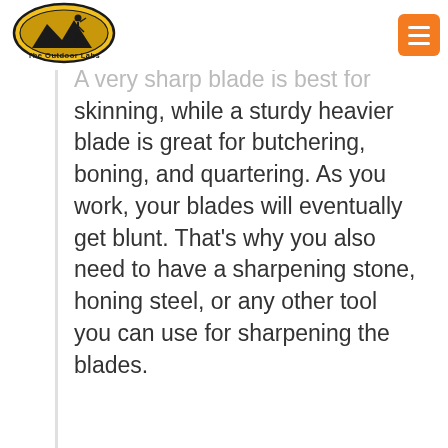The Outdoor Labs
A very sharp blade is best for skinning, while a sturdy heavier blade is great for butchering, boning, and quartering. As you work, your blades will eventually get blunt. That’s why you also need to have a sharpening stone, honing steel, or any other tool you can use for sharpening the blades.